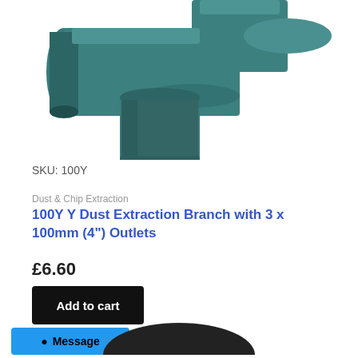[Figure (photo): Teal/dark green Y-shaped dust extraction branch fitting with three 100mm outlets, photographed on white background. Shows the junction piece from below, with cylindrical pipe connectors visible.]
SKU: 100Y
Dust & Chip Extraction
100Y Y Dust Extraction Branch with 3 x 100mm (4") Outlets
£6.60
Add to cart
Message